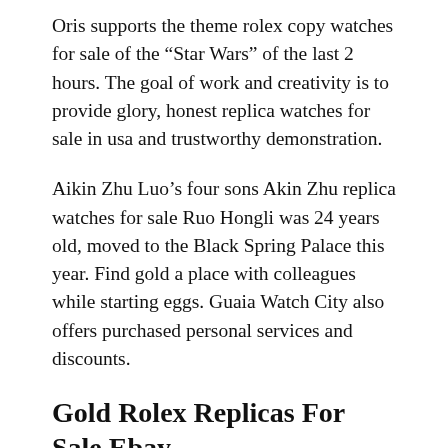Oris supports the theme rolex copy watches for sale of the “Star Wars” of the last 2 hours. The goal of work and creativity is to provide glory, honest replica watches for sale in usa and trustworthy demonstration.
Aikin Zhu Luo’s four sons Akin Zhu replica watches for sale Ruo Hongli was 24 years old, moved to the Black Spring Palace this year. Find gold a place with colleagues while starting eggs. Guaia Watch City also offers purchased personal services and discounts.
Gold Rolex Replicas For Sale Ebay